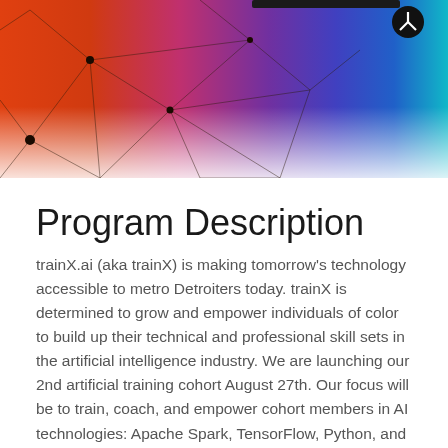[Figure (illustration): Colorful gradient header banner with geometric triangle mesh network on left (orange/red tones) transitioning through purple to blue/teal on the right. Black dot network nodes and lines overlay the gradient. A dark circular icon with a Y-shape appears on the right side.]
Program Description
trainX.ai (aka trainX) is making tomorrow's technology accessible to metro Detroiters today.  trainX is determined to grow and empower individuals of color to build up their technical and professional skill sets in the artificial intelligence industry.  We are launching our 2nd artificial training cohort August 27th. Our focus will be to train, coach, and empower cohort members in AI technologies: Apache Spark, TensorFlow, Python, and Zeppelin.  Our cohort will be intense and will take place over 8 weeks, we will meet 3 times a week at 3 hours